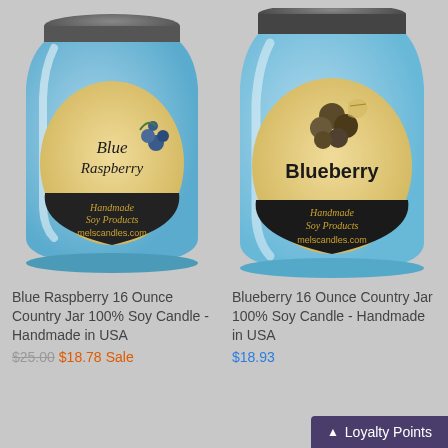[Figure (photo): Blue Raspberry 16 Ounce Country Jar candle with circular label reading 'Blue Raspberry Handmade Soy Products melscandles.com' with blueberry illustration]
Blue Raspberry 16 Ounce Country Jar 100% Soy Candle - Handmade in USA
$25.00  $18.78 Sale
[Figure (photo): Blueberry 16 Ounce Country Jar candle with circular label reading 'Blueberry Handmade Soy Products melscandles.com' with blueberry illustration]
Blueberry 16 Ounce Country Jar 100% Soy Candle - Handmade in USA
$18.93
Loyalty Points